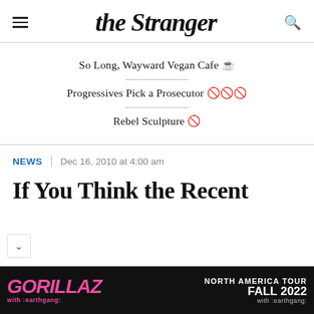the Stranger
So Long, Wayward Vegan Cafe ☕
Progressives Pick a Prosecutor 🗳️
Rebel Sculpture 🗿
NEWS | Dec 16, 2010 at 4:00 am
If You Think the Recent
[Figure (screenshot): Gorillaz North America Tour Fall 2022 advertisement banner at the bottom of the page]